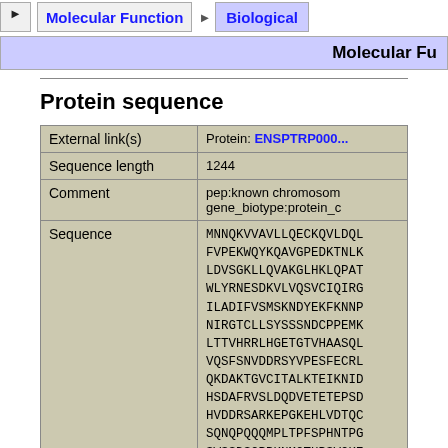Molecular Function | Biological
Molecular Fu
Protein sequence
|  |  |
| --- | --- |
| External link(s) | Protein: ENSPTRP000... |
| Sequence length | 1244 |
| Comment | pep:known chromosome...
gene_biotype:protein_c... |
| Sequence | MNNQKVVAVLLQECKQVLDQL
FVPEKWQYKQAVGPEDKTNLK
LDVSGKLLQVAKGLHKLQPAT
WLYRNESDKVLVQSVCIQIRG
ILADIFVSMSKNDYEKFKNNP
NIRGTCLLSYSSSNDCPPEMK
LTTVHRRLHGETGTVHAASQL
VQSFSNVDDRSYVPESFECRL
QKDAKTGVCITALKTEIKNID
HSDAFRVSLDQDVETETEPSD
HVDDRSARKEPGKEHLVDTQC
SQNQPQQQMPLTPFSPHNTPG
SWSSGSGRPKNMGTHPSVQKE
SPSWVDPEGETAESTEDAPLD
EHGIDPDASTVDEEGQLLDST |